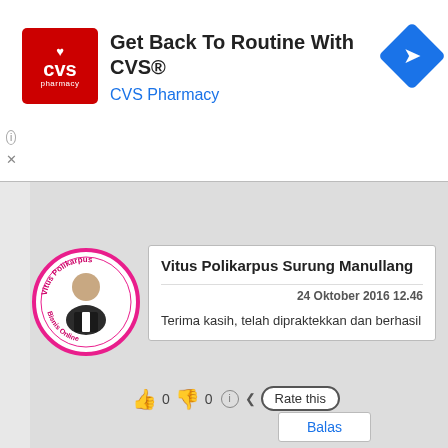[Figure (screenshot): CVS Pharmacy advertisement banner with red CVS pharmacy logo, text 'Get Back To Routine With CVS®', subtitle 'CVS Pharmacy', and a blue navigation diamond icon]
Vitus Polikarpus Surung Manullang
24 Oktober 2016 12.46
Terima kasih, telah dipraktekkan dan berhasil
👍 0 👎 0 ℹ Rate this
Balas